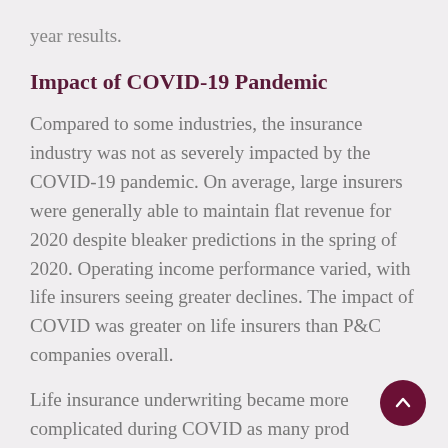year results.
Impact of COVID-19 Pandemic
Compared to some industries, the insurance industry was not as severely impacted by the COVID-19 pandemic. On average, large insurers were generally able to maintain flat revenue for 2020 despite bleaker predictions in the spring of 2020. Operating income performance varied, with life insurers seeing greater declines. The impact of COVID was greater on life insurers than P&C companies overall.
Life insurance underwriting became more complicated during COVID as many prod…